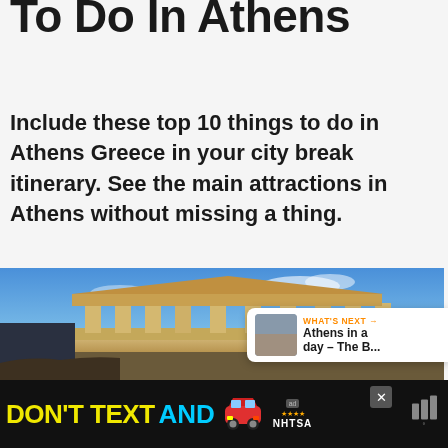Top 10 Things To Do In Athens
Include these top 10 things to do in Athens Greece in your city break itinerary. See the main attractions in Athens without missing a thing.
[Figure (photo): Photograph of the Erechtheion temple on the Acropolis in Athens, Greece, against a blue sky]
WHAT'S NEXT → Athens in a day – The B...
[Figure (other): Advertisement bar: DON'T TEXT AND [car emoji] with NHTSA logo and close button]